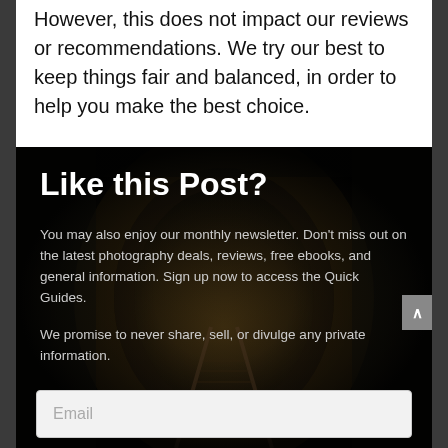However, this does not impact our reviews or recommendations. We try our best to keep things fair and balanced, in order to help you make the best choice.
[Figure (illustration): Dark tunnel/mine shaft background image with railway tracks leading into darkness, overlaid with white text newsletter signup box titled 'Like this Post?' with body text about monthly newsletter and email input field at bottom.]